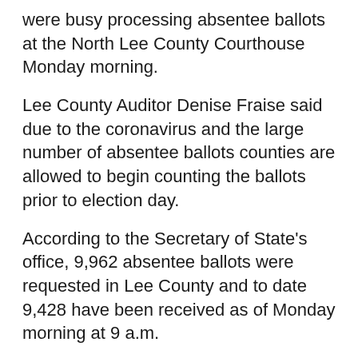were busy processing absentee ballots at the North Lee County Courthouse Monday morning.
Lee County Auditor Denise Fraise said due to the coronavirus and the large number of absentee ballots counties are allowed to begin counting the ballots prior to election day.
According to the Secretary of State's office, 9,962 absentee ballots were requested in Lee County and to date 9,428 have been received as of Monday morning at 9 a.m.
That number represents 57% of the total votes case in the county in the 2016 general election.
Two election officials observed the counting process at the North Lee County Administration Building just before noon, while a small line waited to have their temperatures taken before being allowed in to vote in person or for other county business.